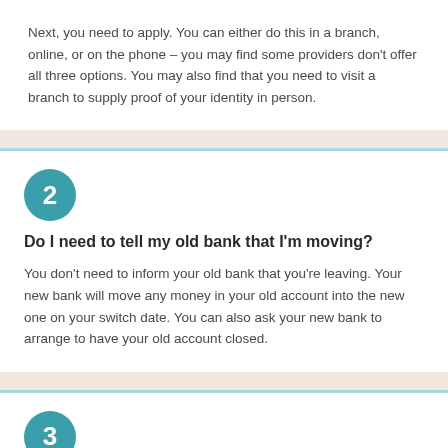Next, you need to apply. You can either do this in a branch, online, or on the phone – you may find some providers don't offer all three options. You may also find that you need to visit a branch to supply proof of your identity in person.
2
Do I need to tell my old bank that I'm moving?
You don't need to inform your old bank that you're leaving. Your new bank will move any money in your old account into the new one on your switch date. You can also ask your new bank to arrange to have your old account closed.
3